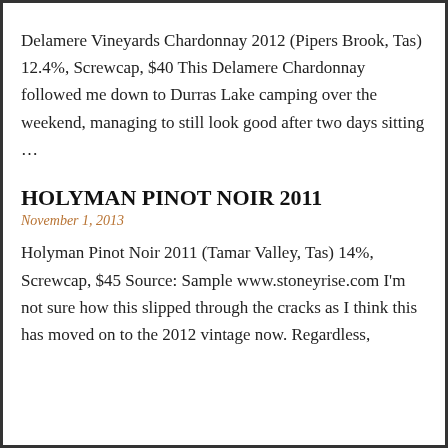Delamere Vineyards Chardonnay 2012 (Pipers Brook, Tas) 12.4%, Screwcap, $40 This Delamere Chardonnay followed me down to Durras Lake camping over the weekend, managing to still look good after two days sitting …
HOLYMAN PINOT NOIR 2011
November 1, 2013
Holyman Pinot Noir 2011 (Tamar Valley, Tas) 14%, Screwcap, $45 Source: Sample www.stoneyrise.com I'm not sure how this slipped through the cracks as I think this has moved on to the 2012 vintage now. Regardless,